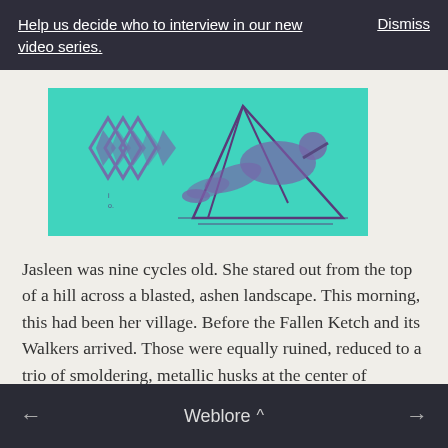Help us decide who to interview in our new video series.    Dismiss
[Figure (illustration): Teal/turquoise background illustration with abstract diamond/hourglass shapes on the left in purple, and a figure reclining against a geometric triangle outline on the right in purple ink style.]
Jasleen was nine cycles old. She stared out from the top of a hill across a blasted, ashen landscape. This morning, this had been her village. Before the Fallen Ketch and its Walkers arrived. Those were equally ruined, reduced to a trio of smoldering, metallic husks at the center of
← Weblore ^ →